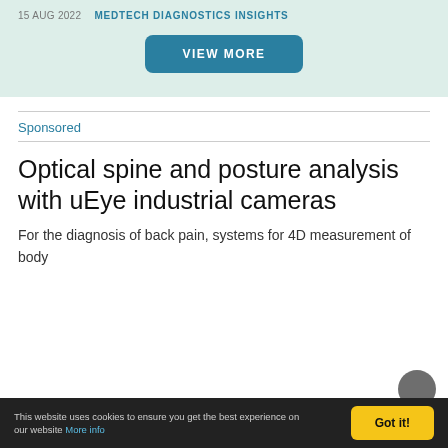15 AUG 2022   MEDTECH DIAGNOSTICS INSIGHTS
[Figure (other): VIEW MORE button in teal banner]
Sponsored
Optical spine and posture analysis with uEye industrial cameras
For the diagnosis of back pain, systems for 4D measurement of body
This website uses cookies to ensure you get the best experience on our website More info   Got it!